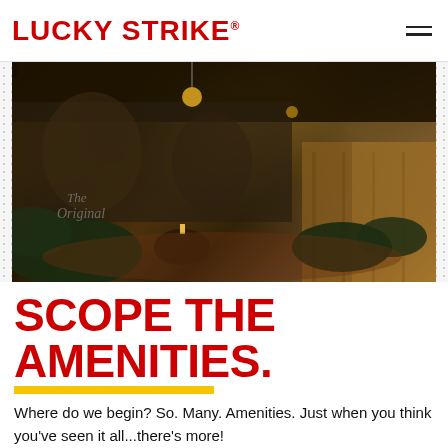LUCKY STRIKE
[Figure (photo): Interior of Lucky Strike bowling lounge showing dark moody ambiance with plush dark green lounge chairs, decorative rugs, round coffee tables with candles, mural wall art including vintage-style figures, pendant lighting, and a long corridor with wood floors.]
SCOPE THE AMENITIES.
Where do we begin? So. Many. Amenities. Just when you think you've seen it all...there's more!